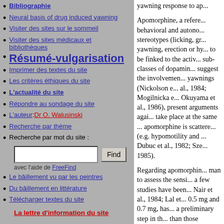Bibliographie
Neural basis of drug induced yawning
Visiter des sites sur le sommeil
Visiter des sites médicaux et bibliothèques
Résumé-vulgarisation
Imprimer des textes du site
Les critères éthiques du site
L'actualité du site
Répondre au sondage du site
L'auteur : Dr O. Walusinski
Recherche par thème
Recherche par mot du site :
Le bâillement vu par les peintres
Du bâillement en littérature
Télécharger textes du site
La lettre d'information du site
yawning response to ap... Apomorphine, a reference behavioral and autonomic stereotypes (licking, gr... yawning, erection or hy... to be finked to the activ... sub-classes of dopamin... suggest the involvemen... yawnings (Nickolson e... al., 1984; Mogilnicka e... Okuyama et al., 1986), present arguments agai... take place at the same ... apomorphine is scattere... (e.g. hypomotility and ... Dubuc et al., 1982; Sze... 1985). Regarding apomorphin... man to assess the sensi... a few studies have been... Nair et al., 1984; Lal et... 0.5 mg and 0.7 mg, has... a preliminary step in th... than those described in...